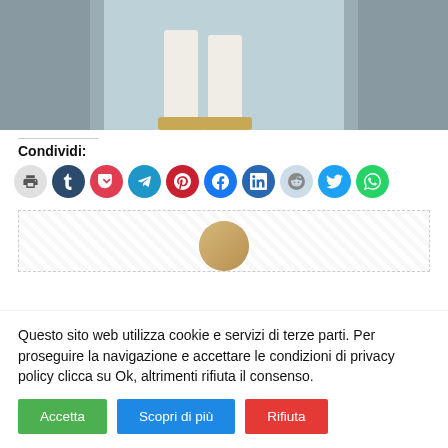[Figure (photo): Photo of person's lower legs wearing white pants and flat sandals, standing on a tiled floor]
Condividi:
[Figure (infographic): Row of social share icon buttons: print, Tumblr, Pocket, Telegram, Pinterest, Facebook, LinkedIn, Reddit, Twitter, WhatsApp]
[Figure (photo): Author avatar circle photo, partially visible at bottom of article]
Questo sito web utilizza cookie e servizi di terze parti. Per proseguire la navigazione e accettare le condizioni di privacy policy clicca su Ok, altrimenti rifiuta il consenso.
Accetta   Scopri di più   Rifiuta